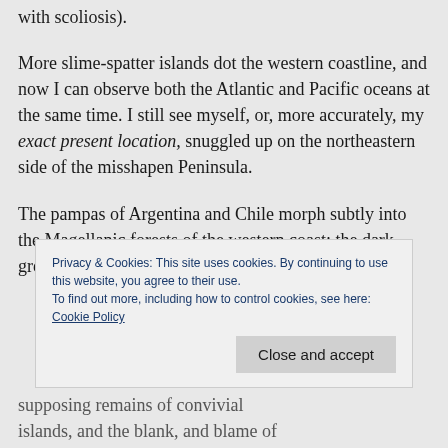with scoliosis).
More slime-spatter islands dot the western coastline, and now I can observe both the Atlantic and Pacific oceans at the same time. I still see myself, or, more accurately, my exact present location, snuggled up on the northeastern side of the misshapen Peninsula.
The pampas of Argentina and Chile morph subtly into the Magellanic forests of the western coast; the dark green looks like
Privacy & Cookies: This site uses cookies. By continuing to use this website, you agree to their use.
To find out more, including how to control cookies, see here: Cookie Policy
Close and accept
supposing remains of convivial islands, and the blank, and blame of